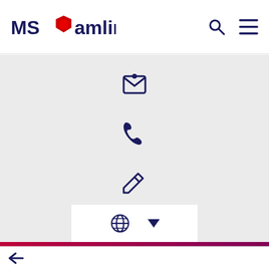[Figure (logo): MS Amlin logo with red diamond/hexagon shape between MS and amlin text]
[Figure (screenshot): MS Amlin website interface showing navigation header, gray content area with contact icons (envelope, phone, pencil/edit), a white dropdown language selector with globe icon, and a red-to-purple gradient decorative section at bottom with horizontal line texture. A back arrow appears at the very bottom.]